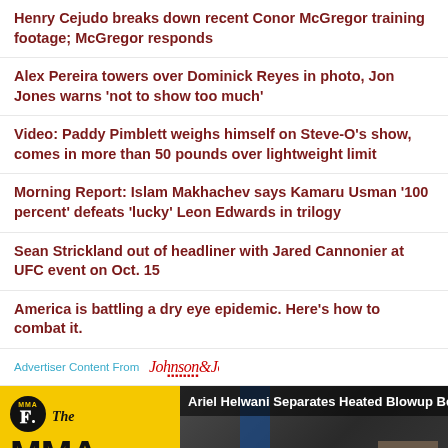Henry Cejudo breaks down recent Conor McGregor training footage; McGregor responds
Alex Pereira towers over Dominick Reyes in photo, Jon Jones warns 'not to show too much'
Video: Paddy Pimblett weighs himself on Steve-O's show, comes in more than 50 pounds over lightweight limit
Morning Report: Islam Makhachev says Kamaru Usman '100 percent' defeats 'lucky' Leon Edwards in trilogy
Sean Strickland out of headliner with Jared Cannonier at UFC event on Oct. 15
America is battling a dry eye epidemic. Here's how to combat it.
Advertiser Content From  Johnson & Johnson
[Figure (screenshot): MMA Hour video thumbnail with yellow branding panel on left showing MMA Fighting logo, 'The MMA Hour with Ariel Helwani' text and date 08.29.22, and a video still on the right with title 'Ariel Helwani Separates Heated Blowup Betwe...']